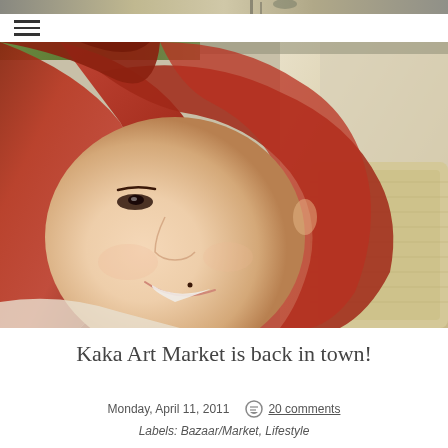≡ (hamburger menu)
[Figure (photo): Top strip showing outdoor scene with people and structure at top of page]
[Figure (photo): Close-up portrait of a young woman with red/auburn hair, smiling, sitting in a car. She has long flowing red-brown hair and is wearing a light-colored top.]
Kaka Art Market is back in town!
Monday, April 11, 2011   20 comments
Labels: Bazaar/Market, Lifestyle